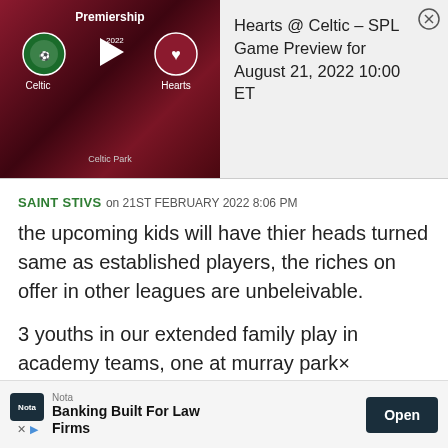[Figure (screenshot): Sports match preview thumbnail showing Celtic vs Hearts Premiership matchup at Celtic Park, with team logos and a play button overlay on a dark red background]
Hearts @ Celtic – SPL Game Preview for August 21, 2022 10:00 ET
SAINT STIVS on 21ST FEBRUARY 2022 8:06 PM
the upcoming kids will have thier heads turned same as established players, the riches on offer in other leagues are unbeleivable.
3 youths in our extended family play in academy teams, one at murray park×
[Figure (screenshot): Nota advertisement banner: Banking Built For Law Firms with Open button]